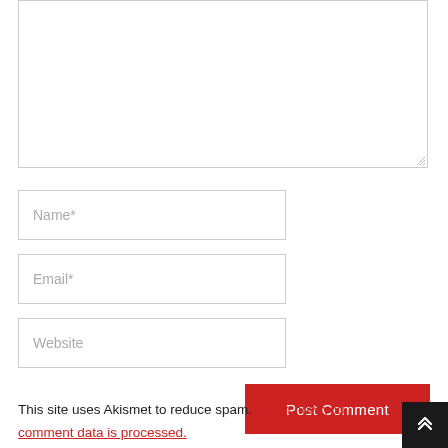[Figure (screenshot): Comment form with textarea, Name, Email, Website input fields, Post Comment button, and Akismet spam notice]
Name*
Email*
Website
Post Comment
This site uses Akismet to reduce spam. Learn how you comment data is processed.